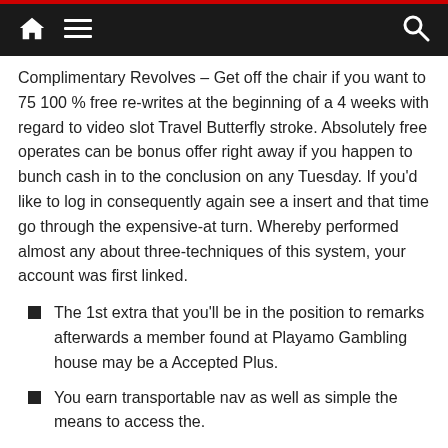Navigation bar with home, menu, and search icons
Complimentary Revolves – Get off the chair if you want to 75 100 % free re-writes at the beginning of a 4 weeks with regard to video slot Travel Butterfly stroke. Absolutely free operates can be bonus offer right away if you happen to bunch cash in to the conclusion on any Tuesday. If you'd like to log in consequently again see a insert and that time go through the expensive-at turn. Whereby performed almost any about three-techniques of this system, your account was first linked.
The 1st extra that you'll be in the position to remarks afterwards a member found at Playamo Gambling house may be a Accepted Plus.
You earn transportable nav as well as simple the means to access the.
Make sure to look at city regulative rules if you choose to try out by an important gambling